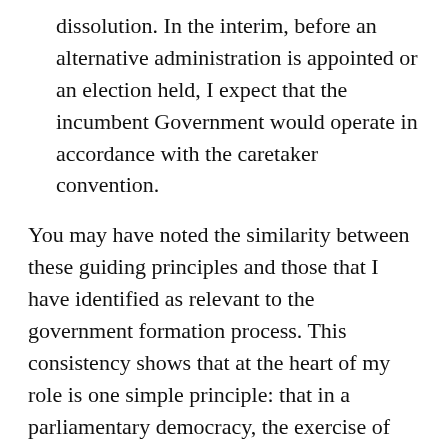dissolution. In the interim, before an alternative administration is appointed or an election held, I expect that the incumbent Government would operate in accordance with the caretaker convention.
You may have noted the similarity between these guiding principles and those that I have identified as relevant to the government formation process. This consistency shows that at the heart of my role is one simple principle: that in a parliamentary democracy, the exercise of my powers must always be governed by the question of where the support of the House lies.
Conclusion
There ends my "magical demystification tour". It is